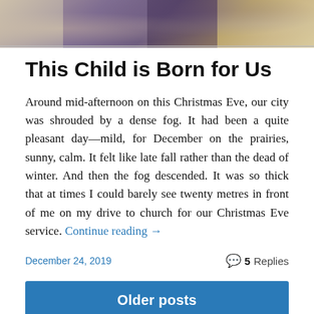[Figure (photo): Header image showing artistic/illustrated figures in warm and purple tones with text overlays]
This Child is Born for Us
Around mid-afternoon on this Christmas Eve, our city was shrouded by a dense fog. It had been a quite pleasant day—mild, for December on the prairies, sunny, calm. It felt like late fall rather than the dead of winter. And then the fog descended. It was so thick that at times I could barely see twenty metres in front of me on my drive to church for our Christmas Eve service. Continue reading →
December 24, 2019
5 Replies
Older posts